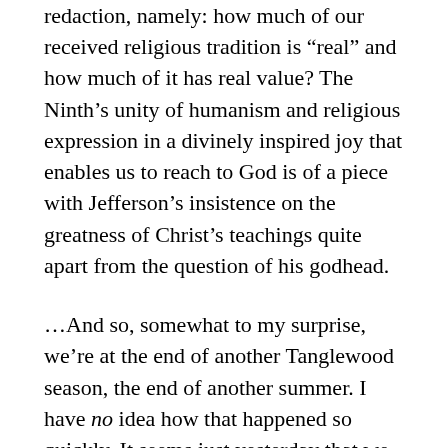redaction, namely: how much of our received religious tradition is “real” and how much of it has real value? The Ninth’s unity of humanism and religious expression in a divinely inspired joy that enables us to reach to God is of a piece with Jefferson’s insistence on the greatness of Christ’s teachings quite apart from the question of his godhead.
…And so, somewhat to my surprise, we’re at the end of another Tanglewood season, the end of another summer. I have no idea how that happened so quickly. It seems just yesterday that we were setting our clocks ahead, and now the days are getting shorter and the kids are getting ready to go back to school.